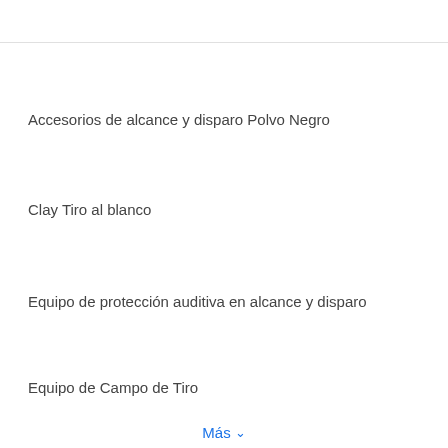Accesorios de alcance y disparo Polvo Negro
Clay Tiro al blanco
Equipo de protección auditiva en alcance y disparo
Equipo de Campo de Tiro
Más ∨